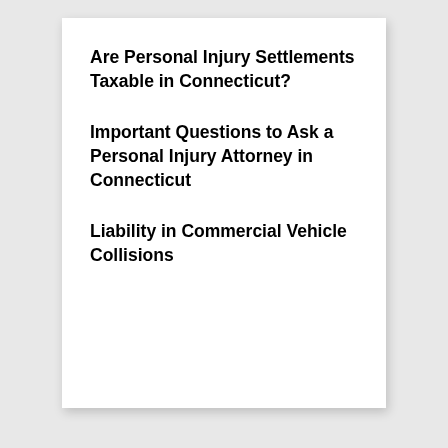Are Personal Injury Settlements Taxable in Connecticut?
Important Questions to Ask a Personal Injury Attorney in Connecticut
Liability in Commercial Vehicle Collisions